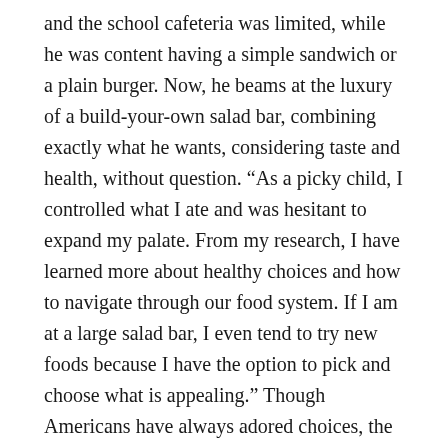and the school cafeteria was limited, while he was content having a simple sandwich or a plain burger. Now, he beams at the luxury of a build-your-own salad bar, combining exactly what he wants, considering taste and health, without question. “As a picky child, I controlled what I ate and was hesitant to expand my palate. From my research, I have learned more about healthy choices and how to navigate through our food system. If I am at a large salad bar, I even tend to try new foods because I have the option to pick and choose what is appealing.” Though Americans have always adored choices, the increasing abundance of the American food system has facilitated the ability to enjoy American food as a truly customizable cuisine.